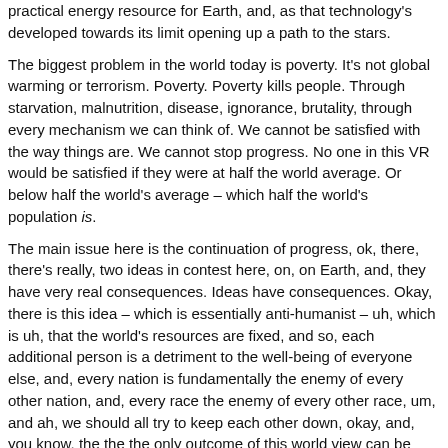practical energy resource for Earth, and, as that technology's developed towards its limit opening up a path to the stars.
The biggest problem in the world today is poverty. It's not global warming or terrorism. Poverty. Poverty kills people. Through starvation, malnutrition, disease, ignorance, brutality, through every mechanism we can think of. We cannot be satisfied with the way things are. We cannot stop progress. No one in this VR would be satisfied if they were at half the world average. Or below half the world's average – which half the world's population is.
The main issue here is the continuation of progress, ok, there, there's really, two ideas in contest here, on, on Earth, and, they have very real consequences. Ideas have consequences. Okay, there is this idea – which is essentially anti-humanist – uh, which is uh, that the world's resources are fixed, and so, each additional person is a detriment to the well-being of everyone else, and, every nation is fundamentally the enemy of every other nation, and, every race the enemy of every other race, um, and ah, we should all try to keep each other down, okay, and, you know, the the the only outcome of this world view can be stagnation tyranny war and genocide. And in fact we've seen this. Uh, in the